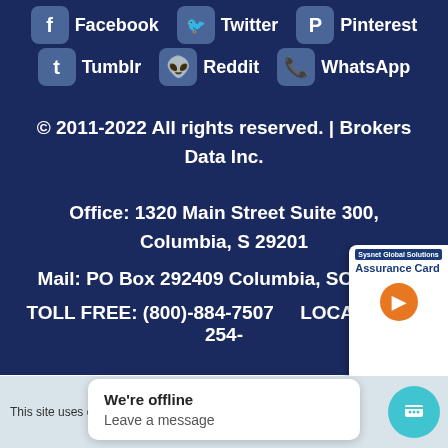[Figure (infographic): Social media icons row 1: Facebook, Twitter, Pinterest]
[Figure (infographic): Social media icons row 2: Tumblr, Reddit, WhatsApp]
© 2011-2022 All rights reserved. | Brokers Data Inc.
Office: 1320 Main Street Suite 300, Columbia, S 29201
Mail: PO Box 292409 Columbia, SC 29229
TOLL FREE: (800)-884-7507     LOCAL: (803) 254-
[Figure (infographic): Sysnet Global Solutions Assurance Card advertisement overlay with orange button]
This site uses cookies, so... ion.
We're offline
Leave a message